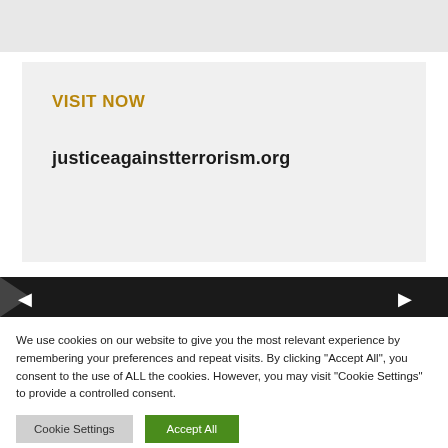[Figure (other): Top gray bar element]
VISIT NOW
justiceagainstterrorism.org
[Figure (other): Dark navigation arrow strip with left and right arrows]
We use cookies on our website to give you the most relevant experience by remembering your preferences and repeat visits. By clicking "Accept All", you consent to the use of ALL the cookies. However, you may visit "Cookie Settings" to provide a controlled consent.
Cookie Settings
Accept All